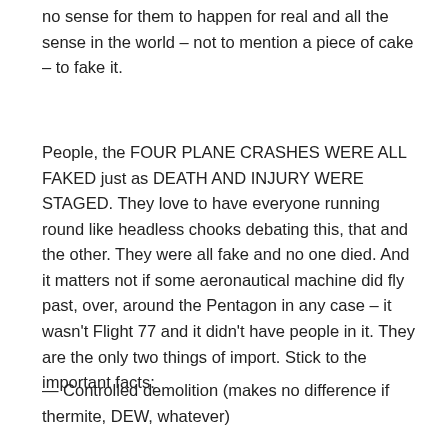no sense for them to happen for real and all the sense in the world – not to mention a piece of cake – to fake it.
People, the FOUR PLANE CRASHES WERE ALL FAKED just as DEATH AND INJURY WERE STAGED. They love to have everyone running round like headless chooks debating this, that and the other. They were all fake and no one died. And it matters not if some aeronautical machine did fly past, over, around the Pentagon in any case – it wasn't Flight 77 and it didn't have people in it. They are the only two things of import. Stick to the important facts:
— Controlled demolition (makes no difference if thermite, DEW, whatever)